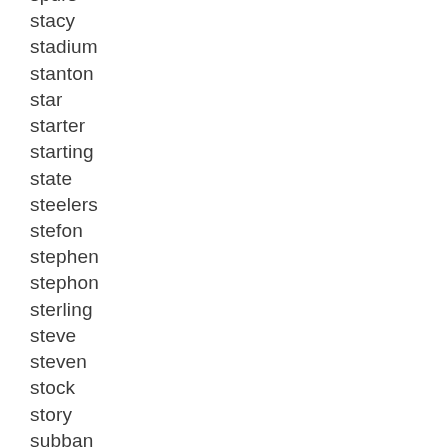spurs
stacy
stadium
stanton
star
starter
starting
state
steelers
stefon
stephen
stephon
sterling
steve
steven
stock
story
subban
suns
super
supreme